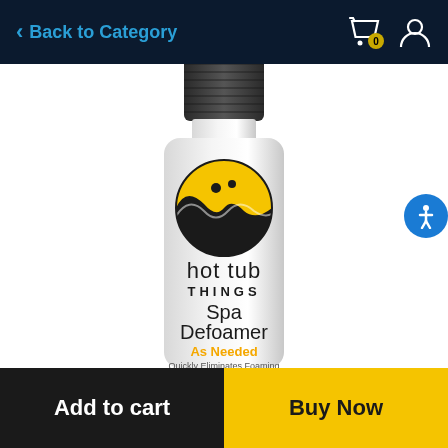Back to Category
[Figure (photo): Hot Tub Things Spa Defoamer product bottle. White cylindrical bottle with dark screw cap. Logo shows a yin-yang style circle with yellow upper half and black lower half with swirling waves. Label reads: hot tub THINGS Spa Defoamer. As Needed. Quickly Eliminates Foaming.]
Add to cart
Buy Now